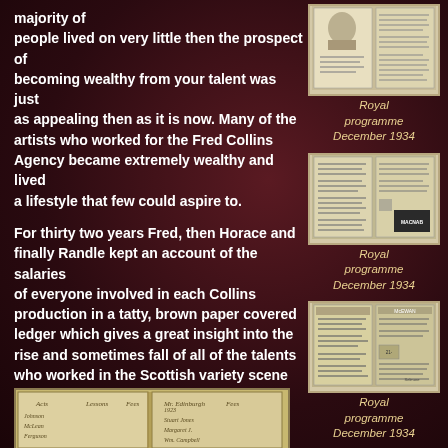majority of people lived on very little then the prospect of becoming wealthy from your talent was just as appealing then as it is now. Many of the artists who worked for the Fred Collins Agency became extremely wealthy and lived a lifestyle that few could aspire to.
[Figure (photo): Royal programme December 1934 - top thumbnail]
Royal programme December 1934
[Figure (photo): Royal programme December 1934 - middle thumbnail]
Royal programme December 1934
For thirty two years Fred, then Horace and finally Randle kept an account of the salaries of everyone involved in each Collins production in a tatty, brown paper covered ledger which gives a great insight into the rise and sometimes fall of all of the talents who worked in the Scottish variety scene over the years.
[Figure (photo): Royal programme December 1934 - lower right thumbnail]
Royal programme December 1934
[Figure (photo): Open ledger book showing handwritten salary accounts]
[Figure (photo): Royal programme December 1934 - bottom right partial thumbnail]